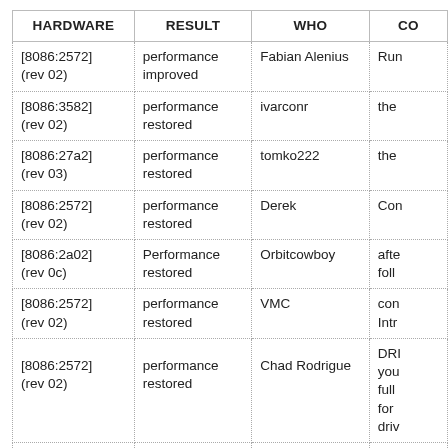| HARDWARE | RESULT | WHO | CO… |
| --- | --- | --- | --- |
| [8086:2572] (rev 02) | performance improved | Fabian Alenius | Run… |
| [8086:3582] (rev 02) | performance restored | ivarconr | the… |
| [8086:27a2] (rev 03) | performance restored | tomko222 | the… |
| [8086:2572] (rev 02) | performance restored | Derek | Con… |
| [8086:2a02] (rev 0c) | Performance restored | Orbitcowboy | afte… follo… |
| [8086:2572] (rev 02) | performance restored | VMC | con… Intr… |
| [8086:2572] (rev 02) | performance restored | Chad Rodrigue | DRI… you… full… for… driv… |
| [8086:2572] (rev 02) | performance improved | Oliver | Eve… |